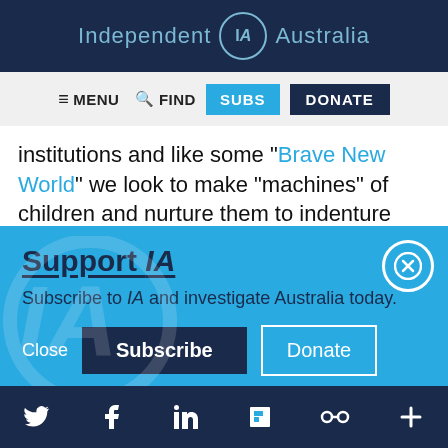Independent IA Australia
≡ MENU  🔍 FIND  SUBS  DONATE
institutions and like some "Brave New World" we look to make "machines" of children and nurture them to indenture lifelong, to cope with
Support IA
Subscribe to IA and investigate Australia today.
Close  Subscribe  Donate
Twitter  Facebook  LinkedIn  Flipboard  Share  +